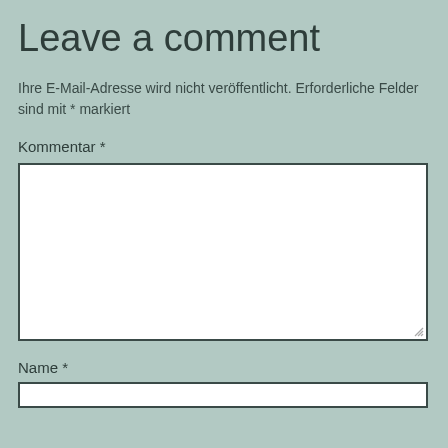Leave a comment
Ihre E-Mail-Adresse wird nicht veröffentlicht. Erforderliche Felder sind mit * markiert
Kommentar *
[Figure (other): Empty comment textarea input box with resize handle]
Name *
[Figure (other): Empty name text input box]